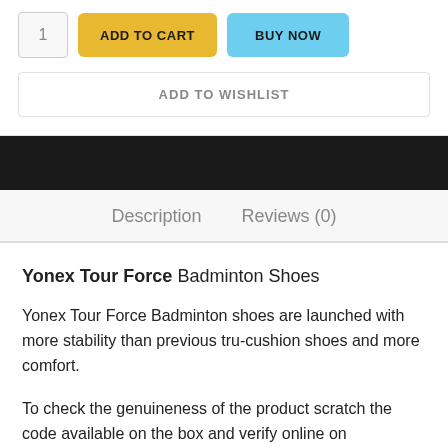[Figure (screenshot): E-commerce product page top section showing quantity selector, ADD TO CART button (yellow), BUY NOW button (blue), and ADD TO WISHLIST button]
Description    Reviews (0)
Yonex Tour Force Badminton Shoes
Yonex Tour Force Badminton shoes are launched with more stability than previous tru-cushion shoes and more comfort.
To check the genuineness of the product scratch the code available on the box and verify online on sunrisetnt.com